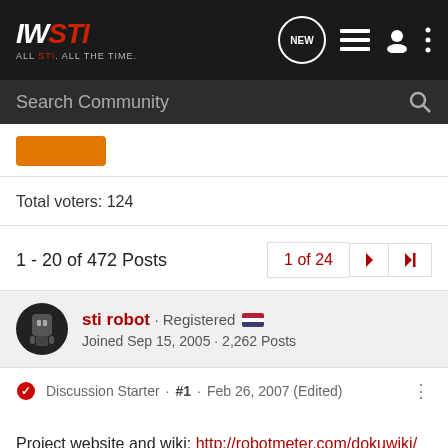IWSTI ALL STI. ALL THE TIME.
Search Community
Total voters: 124
1 - 20 of 472 Posts · 1 of 24
sti robot · Registered · Joined Sep 15, 2005 · 2,262 Posts
Discussion Starter · #1 · Feb 26, 2007 (Edited)
Project website and wiki: http://robotmeter.com/dokuwiki/
All details will be better organized in the wiki.